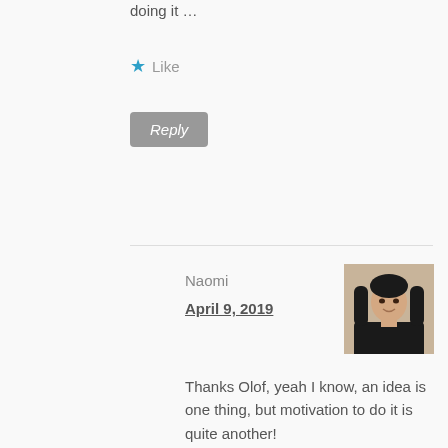doing it …
★ Like
Reply
Naomi
April 9, 2019
[Figure (photo): Avatar photo of Naomi, a woman with long dark hair smiling at camera]
Thanks Olof, yeah I know, an idea is one thing, but motivation to do it is quite another!
★ Like
Reply
Heather
April 9, 2019
[Figure (illustration): Orange and white geometric quilt pattern avatar for Heather]